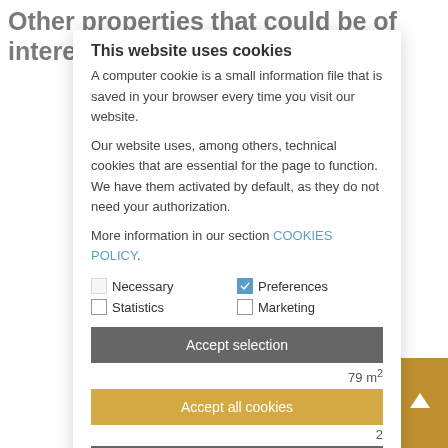Other properties that could be of interest to you
This website uses cookies
A computer cookie is a small information file that is saved in your browser every time you visit our website.
Our website uses, among others, technical cookies that are essential for the page to function. We have them activated by default, as they do not need your authorization.
More information in our section COOKIES POLICY.
Necessary
Preferences
Statistics
Marketing
Accept selection
79 m²
Accept all cookies
2
Setting
2
730 €
Burgos / CELLOPHANE
5207